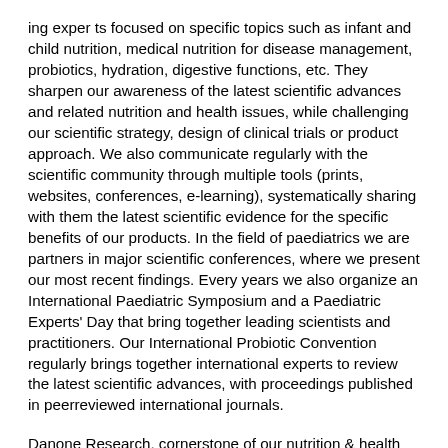ing experts focused on specific topics such as infant and child nutrition, medical nutrition for disease management, probiotics, hydration, digestive functions, etc. They sharpen our awareness of the latest scientific advances and related nutrition and health issues, while challenging our scientific strategy, design of clinical trials or product approach. We also communicate regularly with the scientific community through multiple tools (prints, websites, conferences, e-learning), systematically sharing with them the latest scientific evidence for the specific benefits of our products. In the field of paediatrics we are partners in major scientific conferences, where we present our most recent findings. Every years we also organize an International Paediatric Symposium and a Paediatric Experts' Day that bring together leading scientists and practitioners. Our International Probiotic Convention regularly brings together international experts to review the latest scientific advances, with proceedings published in peerreviewed international journals.
Danone Research, cornerstone of our nutrition & health governance A 1160-strong worldwide R&D community with 600 scientists and 450 developers specialised in fields like nutrition, epidemiology, biology, microbiology, physiology, gastroenterology, paediatrics, immunology, neurology